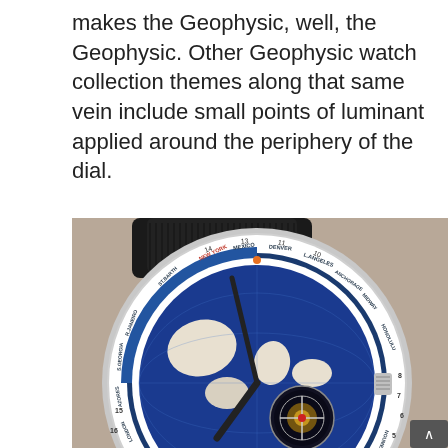makes the Geophysic, well, the Geophysic. Other Geophysic watch collection themes along that same vein include small points of luminant applied around the periphery of the dial.
[Figure (photo): Close-up photograph of a luxury world-time watch (Jaeger-LeCoultre Geophysic) with a blue globe dial showing city names around the bezel including New York, Mexico, Los Angeles, Anchorage, London, Paris, Athens, Moscow, Noumea, Sydney, and others. The watch has a visible tourbillon mechanism, a black alligator leather strap, and a silver case. Numbers 4 through 20 are visible on the rotating bezel ring.]